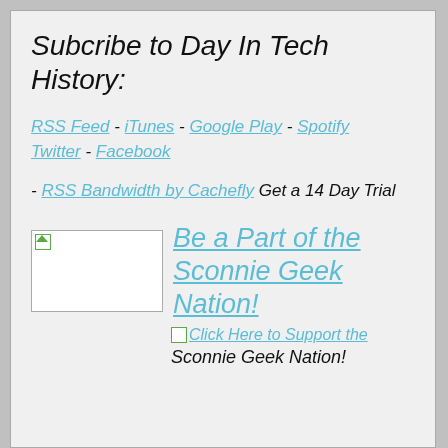Subcribe to Day In Tech History:
RSS Feed - iTunes - Google Play - Spotify Twitter - Facebook
- RSS Bandwidth by Cachefly Get a 14 Day Trial
[Figure (other): Broken image placeholder thumbnail]
Be a Part of the Sconnie Geek Nation!
[Figure (other): Broken image placeholder small]
Click Here to Support the Sconnie Geek Nation!